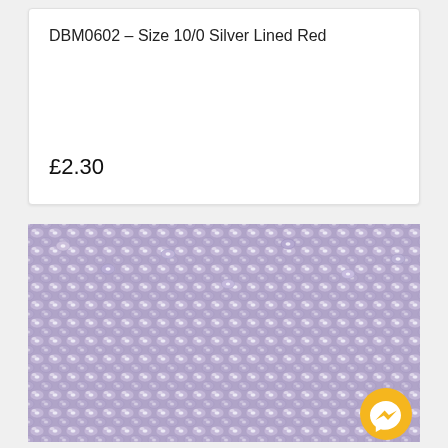DBM0602 – Size 10/0 Silver Lined Red
£2.30
[Figure (photo): Close-up photograph of small silver-lined lavender/purple seed beads (Miyuki Delica size 10/0), densely packed, showing cylindrical bead shapes with silver-lined holes. A yellow Facebook Messenger button is overlaid in the bottom-right corner.]